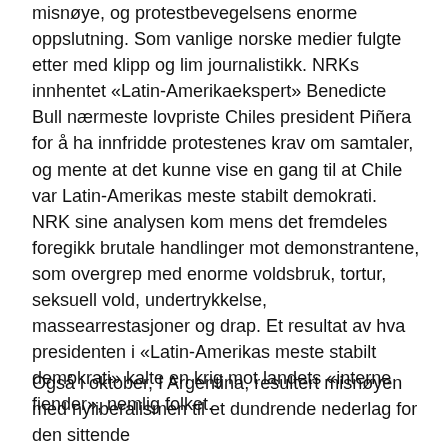misnøye, og protestbevegelsens enorme oppslutning. Som vanlige norske medier fulgte etter med klipp og lim journalistikk. NRKs innhentet «Latin-Amerikaekspert» Benedicte Bull nærmeste lovpriste Chiles president Piñera for å ha innfridde protestenes krav om samtaler, og mente at det kunne vise en gang til at Chile var Latin-Amerikas meste stabilt demokrati. NRK sine analysen kom mens det fremdeles foregikk brutale handlinger mot demonstrantene, som overgrep med enorme voldsbruk, tortur, seksuell vold, undertrykkelse, massearrestasjoner og drap. Et resultat av hva presidenten i «Latin-Amerikas meste stabilt demokrati» kalte en krig mot landets «interne fiender», nemlig folket.
Også i oktober, I Argentina, resultert misnøyen med nyliberalismen til et dundrende nederlag for den sittende